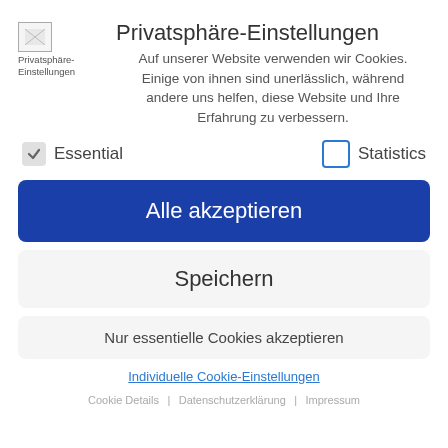[Figure (logo): Small broken image placeholder with logo text 'Privatsphäre-Einstellungen']
Privatsphäre-Einstellungen
Auf unserer Website verwenden wir Cookies. Einige von ihnen sind unerlässlich, während andere uns helfen, diese Website und Ihre Erfahrung zu verbessern.
Essential  Statistics
Alle akzeptieren
Speichern
Nur essentielle Cookies akzeptieren
Individuelle Cookie-Einstellungen
Cookie Details | Datenschutzerklärung | Impressum